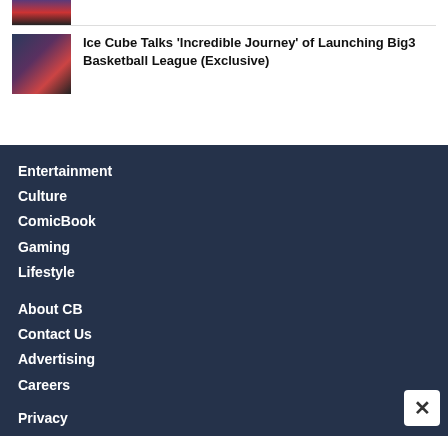[Figure (photo): Partial thumbnail of a person, top of image cropped]
[Figure (photo): Ice Cube performing or speaking, wearing a black shirt with the number 3, holding a microphone]
Ice Cube Talks 'Incredible Journey' of Launching Big3 Basketball League (Exclusive)
Entertainment
Culture
ComicBook
Gaming
Lifestyle
About CB
Contact Us
Advertising
Careers
Privacy